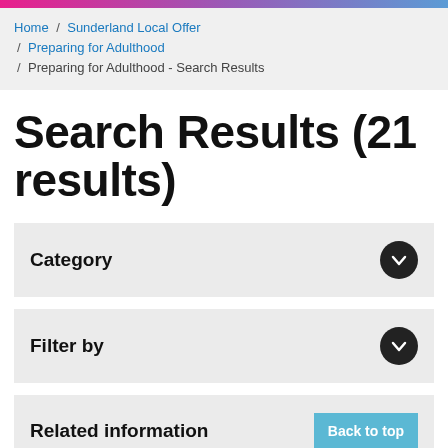Home / Sunderland Local Offer / Preparing for Adulthood / Preparing for Adulthood - Search Results
Search Results (21 results)
Category
Filter by
Related information